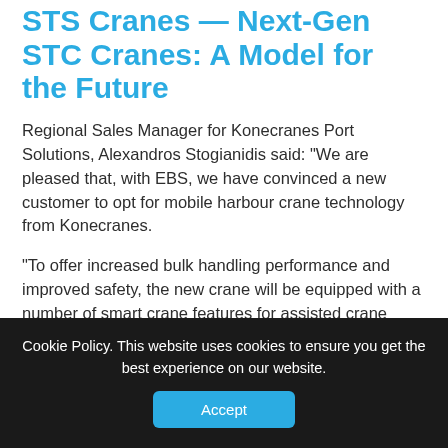STS Cranes — Next-Gen STC Cranes: A Model for the Future
Regional Sales Manager for Konecranes Port Solutions, Alexandros Stogianidis said: “We are pleased that, with EBS, we have convinced a new customer to opt for mobile harbour crane technology from Konecranes.
“To offer increased bulk handling performance and improved safety, the new crane will be equipped with a number of smart crane features for assisted crane motions and working range limitation.
“These include a semi-automated point-to-point
Cookie Policy. This website uses cookies to ensure you get the best experience on our website.